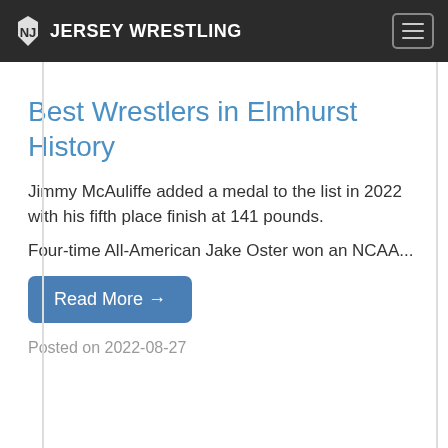JERSEY WRESTLING
Best Wrestlers in Elmhurst History
Jimmy McAuliffe added a medal to the list in 2022 with his fifth place finish at 141 pounds.
Four-time All-American Jake Oster won an NCAA...
Read More →
Posted on 2022-08-27